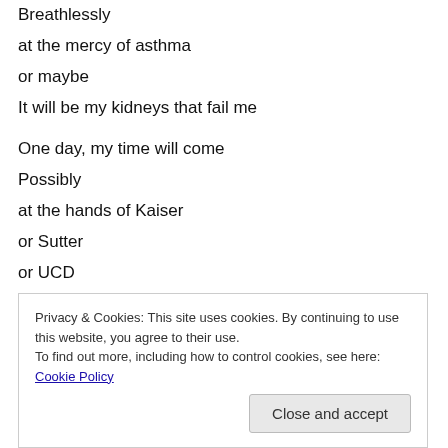Breathlessly
at the mercy of asthma
or maybe
It will be my kidneys that fail me
One day, my time will come
Possibly
at the hands of Kaiser
or Sutter
or UCD
or in the Emergency room of “Mercy”
Quickly looked over and misdiagnosed
Privacy & Cookies: This site uses cookies. By continuing to use this website, you agree to their use. To find out more, including how to control cookies, see here: Cookie Policy